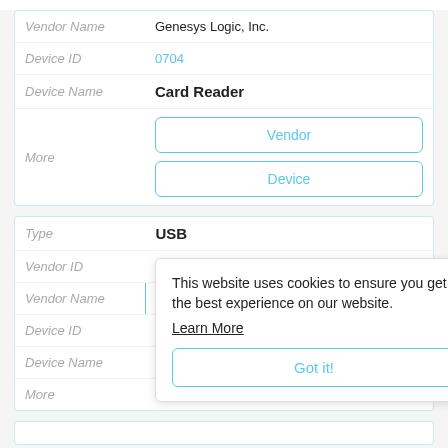| Field | Value |
| --- | --- |
| Vendor Name | Genesys Logic, Inc. |
| Device ID | 0704 |
| Device Name | Card Reader |
| More | Vendor | Device |
| Field | Value |
| --- | --- |
| Type | USB |
| Vendor ID | 05E3 |
| Vendor Name |  |
| Device ID |  |
| Device Name |  |
| More |  |
This website uses cookies to ensure you get the best experience on our website.
Learn More
Got it!